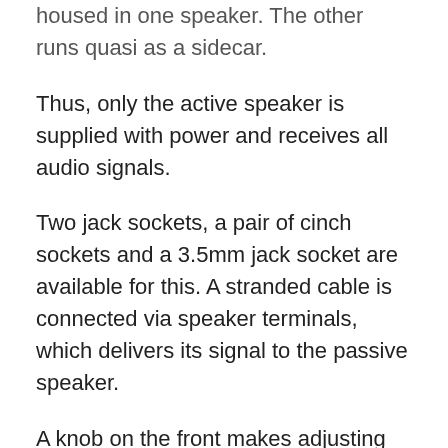housed in one speaker. The other runs quasi as a sidecar.
Thus, only the active speaker is supplied with power and receives all audio signals.
Two jack sockets, a pair of cinch sockets and a 3.5mm jack socket are available for this. A stranded cable is connected via speaker terminals, which delivers its signal to the passive speaker.
A knob on the front makes adjusting the volume from the listening position very convenient. When it is turned all the way down, the monitors turn off.
Also on the front is a headphone jack that turns the speakers off as soon as something is